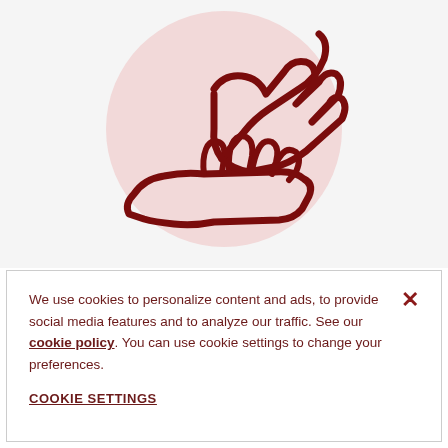[Figure (illustration): Icon illustration of two hands exchanging or receiving something, drawn in dark red outline style on a light pink circular background]
We use cookies to personalize content and ads, to provide social media features and to analyze our traffic. See our cookie policy. You can use cookie settings to change your preferences.
COOKIE SETTINGS